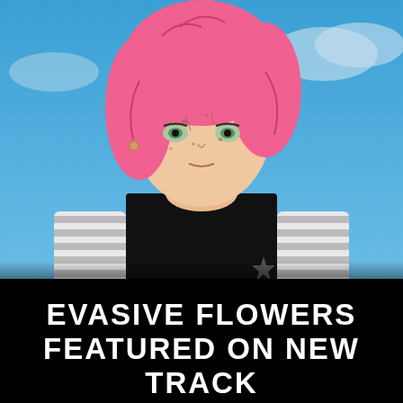[Figure (illustration): Anime-style illustration of Android 18 (Dragon Ball Z character) with pink hair, wearing a black vest over a striped long-sleeve shirt. The character has a serious expression with light green eyes and dirt/battle marks on face. Background is a blue sky with clouds.]
EVASIVE FLOWERS FEATURED ON NEW TRACK